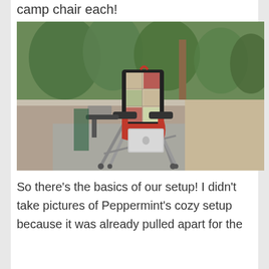camp chair each!
[Figure (photo): A black and red folding camp chair with a patchwork quilt draped over the back and a laptop resting on the seat, sitting on a concrete pad outdoors surrounded by vegetation and sandy ground.]
So there’s the basics of our setup! I didn’t take pictures of Peppermint’s cozy setup because it was already pulled apart for the